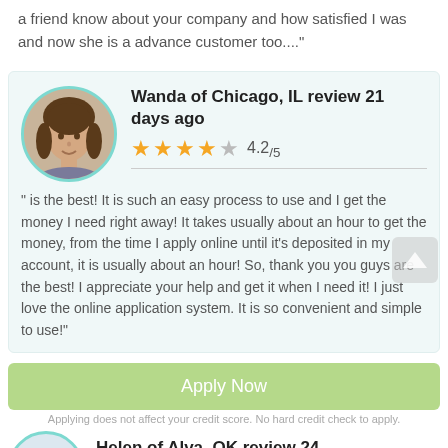a friend know about your company and how satisfied I was and now she is a advance customer too...."
Wanda of Chicago, IL review 21 days ago
[Figure (other): Star rating: 4 filled gold stars and 1 empty gray star, showing 4.2/5]
" is the best! It is such an easy process to use and I get the money I need right away! It takes usually about an hour to get the money, from the time I apply online until it's deposited in my account, it is usually about an hour! So, thank you you guys are the best! I appreciate your help and get it when I need it! I just love the online application system. It is so convenient and simple to use!"
Apply Now
Applying does not affect your credit score. No hard credit check to apply.
Helen of Alva, OK review 24 days ago